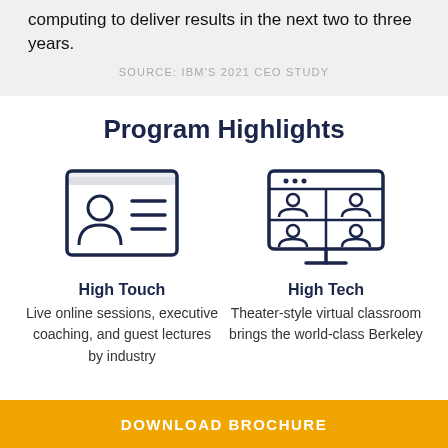computing to deliver results in the next two to three years.
SOURCE: IBM'S 2021 CEO STUDY
Program Highlights
[Figure (illustration): Icon of a person profile card with horizontal lines, representing High Touch live online sessions]
High Touch
Live online sessions, executive coaching, and guest lectures by industry
[Figure (illustration): Icon of a monitor displaying a video conference grid with four participants, representing High Tech virtual classroom]
High Tech
Theater-style virtual classroom brings the world-class Berkeley
DOWNLOAD BROCHURE